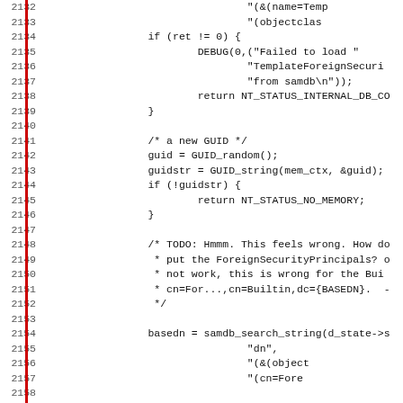Source code listing, lines 2132-2163, showing C code for GUID generation and samdb search operations